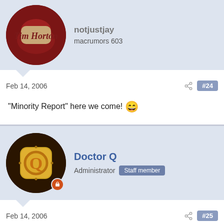notjustjay — macrumors 603
Feb 14, 2006  #24
"Minority Report" here we come! 😄
Doctor Q — Administrator · Staff member
Feb 14, 2006  #25
Take a good luck, because eventually we will all be doing this.

iSights aren't designed to watch people, not fingers, so they aren't the right technology to support finger-based screen actions. I think touch sensitive screens will become the practical choice rather than cameras.